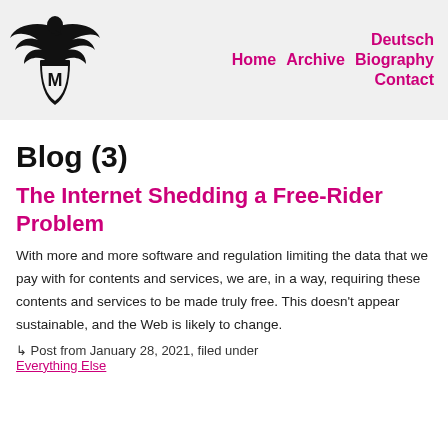Deutsch Home Archive Biography Contact
Blog (3)
The Internet Shedding a Free-Rider Problem
With more and more software and regulation limiting the data that we pay with for contents and services, we are, in a way, requiring these contents and services to be made truly free. This doesn't appear sustainable, and the Web is likely to change.
↳ Post from January 28, 2021, filed under
Everything Else